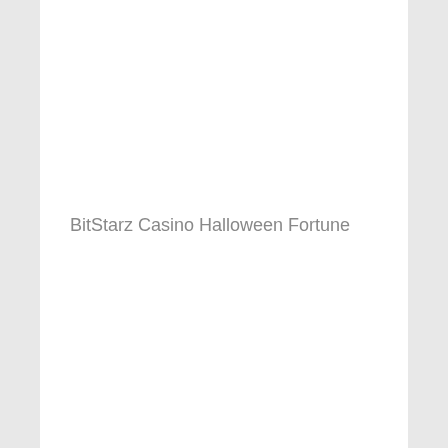BitStarz Casino Halloween Fortune
Diamond Reels Casino Daring Dave
mBTC free bet Daring Dave
1xSlots Casino Space Neon